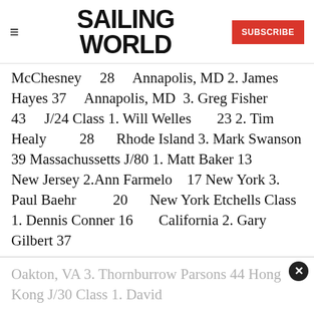SAILING WORLD | SUBSCRIBE
McChesney 28 Annapolis, MD 2. James Hayes 37 Annapolis, MD 3. Greg Fisher 43 J/24 Class 1. Will Welles 23 2. Tim Healy 28 Rhode Island 3. Mark Swanson 39 Massachussetts J/80 1. Matt Baker 13 New Jersey 2.Ann Farmelo 17 New York 3. Paul Baehr 20 New York Etchells Class 1. Dennis Conner 16 California 2. Gary Gilbert 37
Oakton, VA 3. Thornburrow Parsons 44 Hong Kong J/30 Class 1. David